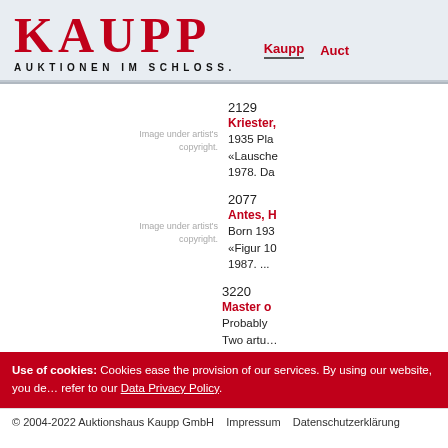KAUPP AUKTIONEN IM SCHLOSS. | Kaupp | Auct…
2129
Kriester,
1935 Pla
«Lausche
1978. Da
Image under artist's copyright.
2077
Antes, H
Born 193
«Figur 10
1987. ...
Image under artist's copyright.
3220
Master o
Probably
Two artu…
Use of cookies: Cookies ease the provision of our services. By using our website, you de… refer to our Data Privacy Policy.
© 2004-2022 Auktionshaus Kaupp GmbH   Impressum   Datenschutzerklärung